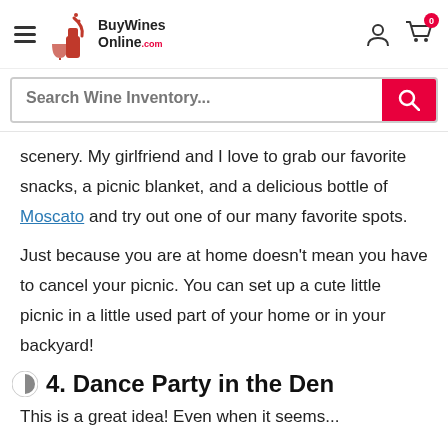BuyWinesOnline.com — Search Wine Inventory...
scenery. My girlfriend and I love to grab our favorite snacks, a picnic blanket, and a delicious bottle of Moscato and try out one of our many favorite spots.
Just because you are at home doesn't mean you have to cancel your picnic. You can set up a cute little picnic in a little used part of your home or in your backyard!
4. Dance Party in the Den
This is a great idea! Even when it seems...